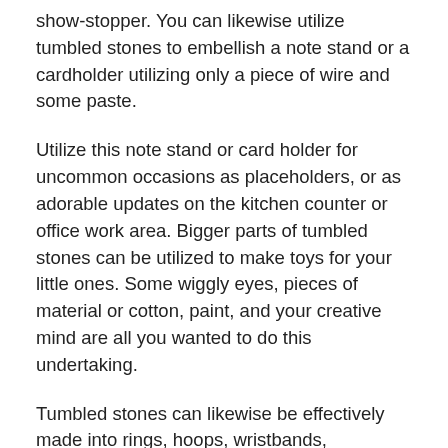show-stopper. You can likewise utilize tumbled stones to embellish a note stand or a cardholder utilizing only a piece of wire and some paste.
Utilize this note stand or card holder for uncommon occasions as placeholders, or as adorable updates on the kitchen counter or office work area. Bigger parts of tumbled stones can be utilized to make toys for your little ones. Some wiggly eyes, pieces of material or cotton, paint, and your creative mind are all you wanted to do this undertaking.
Tumbled stones can likewise be effectively made into rings, hoops, wristbands, pendants, keychains, pendants, paperweights, and numerous other valuable ordinary things.
Tumbled stones truly appear as though game pieces from your beloved tabletop games. You can utilize them for this identical reason! You can cover them in a sandbox and have